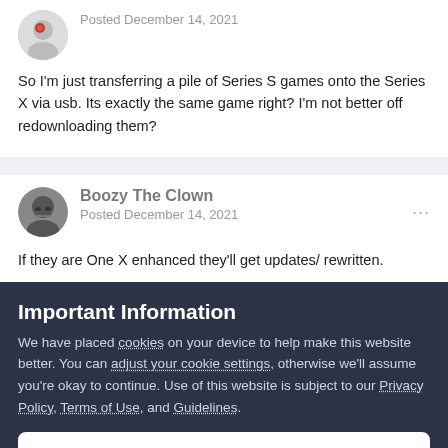Posted December 14, 2021
So I'm just transferring a pile of Series S games onto the Series X via usb. Its exactly the same game right? I'm not better off redownloading them?
Boozy The Clown
Posted December 14, 2021
If they are One X enhanced they'll get updates/ rewritten.
Important Information
We have placed cookies on your device to help make this website better. You can adjust your cookie settings, otherwise we'll assume you're okay to continue. Use of this website is subject to our Privacy Policy, Terms of Use, and Guidelines.
✔ I accept